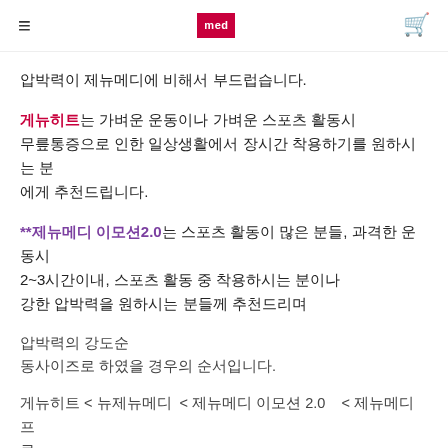≡  med  🛒
압박력이 제뉴메디에 비해서 부드럽습니다.
게뉴히트는 가벼운 운동이나 가벼운 스포츠 활동시 무릎통증으로 인한 일상생활에서 장시간 착용하기를 원하시는 분에게 추천드립니다.
**제뉴메디 이모션2.0는 스포츠 활동이 많은 분들, 과격한 운동시 2~3시간이내, 스포츠 활동 중 착용하시는 분이나 강한 압박력을 원하시는 분들께 추천드리며
압박력의 강도순
동사이즈로 하였을 경우의 순서입니다.
게뉴히트 < 뉴제뉴메디  < 제뉴메디 이모션 2.0   < 제뉴메디프로